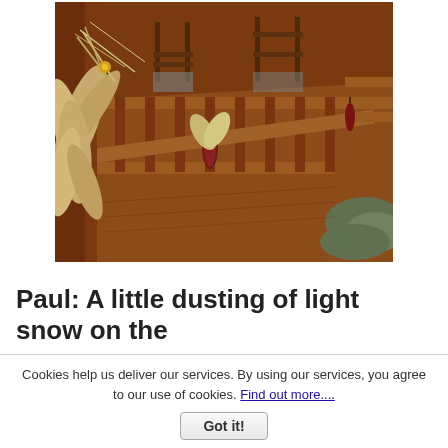[Figure (photo): A wooden porch or deck railing decorated with dried corn husks and Indian corn (dried ears of red corn), with rocking chairs visible in the background. The wood is painted or stained reddish-brown.]
Paul: A little dusting of light snow on the
Cookies help us deliver our services. By using our services, you agree to our use of cookies. Find out more....
Got it!